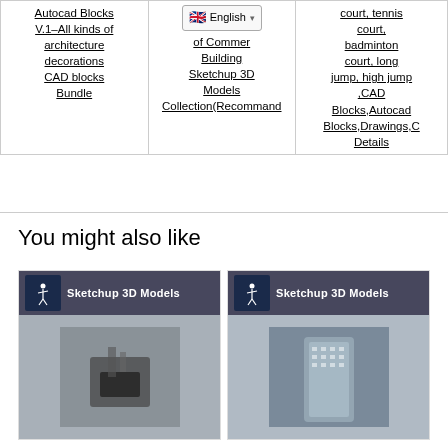| Autocad Blocks | of Commercial Building Sketchup 3D Models Collection(Recommand) | court, tennis court, badminton court, long jump, high jump ,CAD Blocks,Autocad Blocks,Drawings,C Details |
| --- | --- | --- |
| Autocad Blocks V.1–All kinds of architecture decorations CAD blocks Bundle | of Commercial Building Sketchup 3D Models Collection(Recommand) | court, tennis court, badminton court, long jump, high jump ,CAD Blocks,Autocad Blocks,Drawings,C Details |
You might also like
[Figure (screenshot): Thumbnail image showing Sketchup 3D Models banner with archer logo icon over a dark equipment photo]
[Figure (screenshot): Thumbnail image showing Sketchup 3D Models banner with archer logo icon over a building/skyscraper photo]